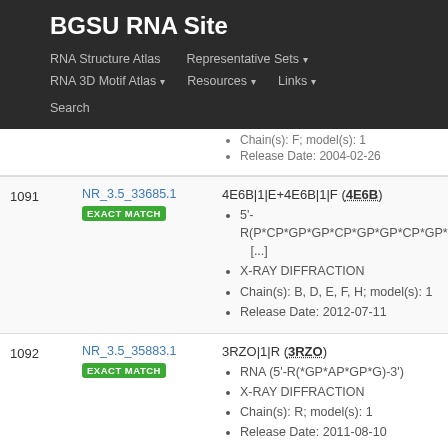BGSU RNA Site
RNA Structure Atlas | Representative Sets | RNA 3D Motif Atlas | Resources | Links | Search
| # | ID | Info |
| --- | --- | --- |
|  |  | Chain(s): F; model(s): 1 | Release Date: 2004-02-26 |
| 1091 | NR_3.5_33685.1 EXACT MATCH | 4E6B|1|E+4E6B|1|F (4E6B) • 5'-R(P*CP*GP*GP*CP*GP*GP*CP*GP* [...] • X-RAY DIFFRACTION • Chain(s): B, D, E, F, H; model(s): 1 • Release Date: 2012-07-11 |
| 1092 | NR_3.5_35883.1 EXACT MATCH | 3RZO|1|R (3RZO) • RNA (5'-R(*GP*AP*GP*G)-3') • X-RAY DIFFRACTION • Chain(s): R; model(s): 1 • Release Date: 2011-08-10 |